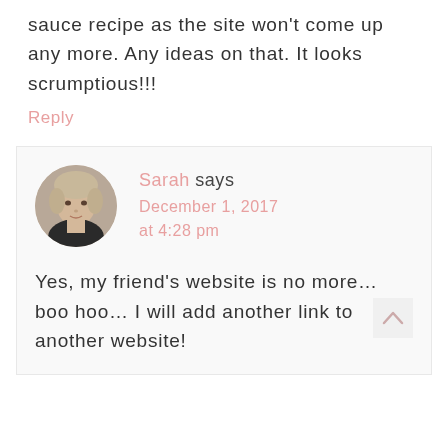sauce recipe as the site won't come up any more. Any ideas on that. It looks scrumptious!!!
Reply
[Figure (photo): Circular avatar photo of Sarah, a woman with short blonde/gray hair]
Sarah says December 1, 2017 at 4:28 pm
Yes, my friend's website is no more… boo hoo… I will add another link to another website!